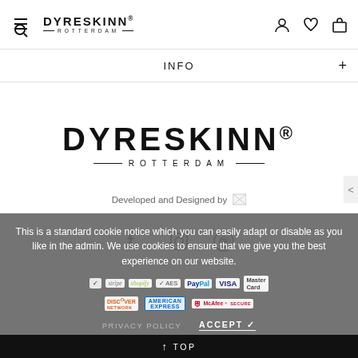DYRESKINN® ROTTERDAM — navigation header with hamburger/search, user, wishlist, cart icons
INFO +
[Figure (logo): DYRESKINN® ROTTERDAM large brand logo with horizontal rules flanking ROTTERDAM]
Developed and Designed by [image]
[Figure (infographic): Social media icons: Facebook, Instagram, Pinterest]
This is a standard cookie notice which you can easily adapt or disable as you like in the admin. We use cookies to ensure that we give you the best experience on our website.
[Figure (infographic): Payment and security badges: stripe, shopify, AES, PayPal, VISA, Mastercard, DISCOVER NETWORK, AMERICAN EXPRESS, McAfee SECURE]
PRIVACY POLICY   ACCEPT ✓
↑ TOP